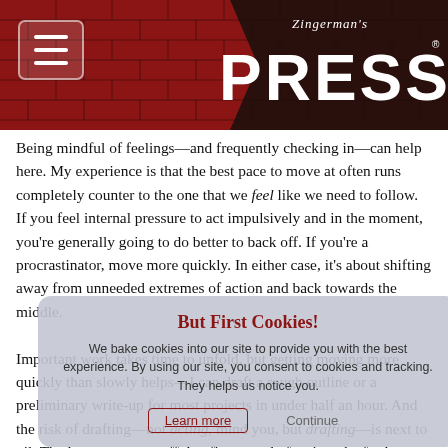[Figure (logo): Zingerman's Press logo on dark banner over red brick background header]
Being mindful of feelings—and frequently checking in—can help here. My experience is that the best pace to move at often runs completely counter to the one that we feel like we need to follow. If you feel internal pressure to act impulsively and in the moment, you're generally going to do better to back off. If you're a procrastinator, move more quickly. In either case, it's about shifting away from unneeded extremes of action and back towards the middle.
Important work takes time to unfold, but getting moving more quickly than slowly helps—I can draft a rough outline or a preliminary write-up for most projects in under half an hour. And the risk of drafting—not acting, mind you, but drafting—is next to nil. The longer you put off that first round of action, the further you get from your true feelings, your creativity, and your insight. Mind you, this first shot at things is just a beginning—don't race right out and send what you've done to headquarters, or trigger immediate action. But if all you do is draft, I think you can have the best of both worlds. You clear
But First Cookies!
We bake cookies into our site to provide you with the best experience. By using our site, you consent to cookies and tracking. They help us notice you.
Learn more   Continue